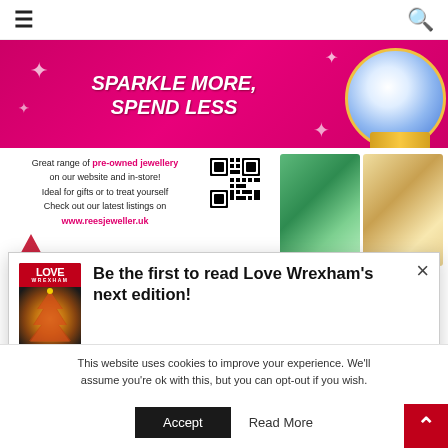Navigation bar with hamburger menu and search icon
[Figure (illustration): Jewellery advertisement banner. Top pink section with text 'SPARKLE MORE, SPEND LESS' with diamond ring. Lower white section with text about pre-owned jewellery and www.reesjeweller.uk with QR code and two jewellery photos.]
Great range of pre-owned jewellery on our website and in-store! Ideal for gifts or to treat yourself Check out our latest listings on www.reesjeweller.uk
[Figure (infographic): Love Wrexham magazine cover popup with heading: Be the first to read Love Wrexham's next edition!]
Be the first to read Love Wrexham's next edition!
Sign up here and we'll email you when it's online
This website uses cookies to improve your experience. We'll assume you're ok with this, but you can opt-out if you wish
Accept
Read More